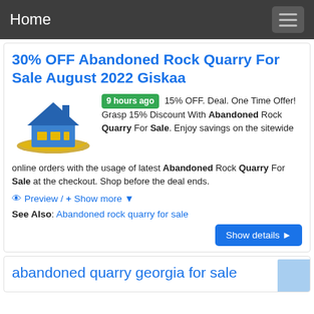Home
30% OFF Abandoned Rock Quarry For Sale August 2022 Giskaa
[Figure (logo): House logo illustration: blue roof with chimney, gold/yellow wavy base, small house windows in gold.]
9 hours ago 15% OFF. Deal. One Time Offer! Grasp 15% Discount With Abandoned Rock Quarry For Sale. Enjoy savings on the sitewide online orders with the usage of latest Abandoned Rock Quarry For Sale at the checkout. Shop before the deal ends.
👁 Preview / + Show more ▼
See Also: Abandoned rock quarry for sale
Show details ▶
abandoned quarry georgia for sale